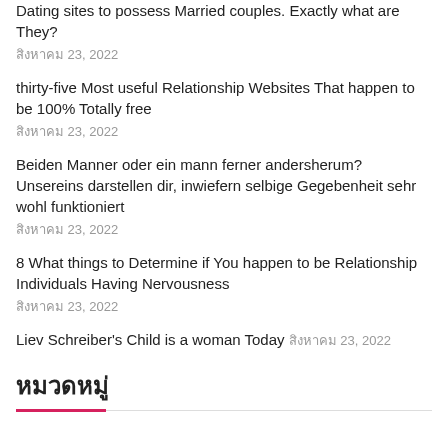Dating sites to possess Married couples. Exactly what are They?
สิงหาคม 23, 2022
thirty-five Most useful Relationship Websites That happen to be 100% Totally free
สิงหาคม 23, 2022
Beiden Manner oder ein mann ferner andersherum? Unsereins darstellen dir, inwiefern selbige Gegebenheit sehr wohl funktioniert
สิงหาคม 23, 2022
8 What things to Determine if You happen to be Relationship Individuals Having Nervousness
สิงหาคม 23, 2022
Liev Schreiber's Child is a woman Today สิงหาคม 23, 2022
หมวดหมู่